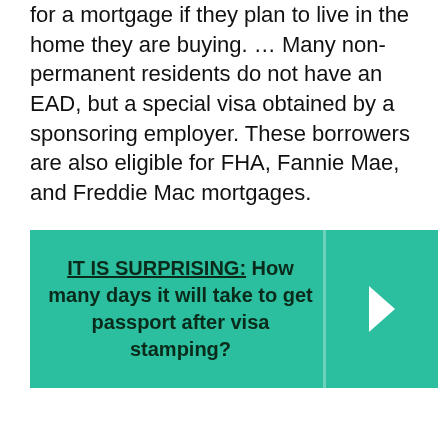for a mortgage if they plan to live in the home they are buying. ... Many non-permanent residents do not have an EAD, but a special visa obtained by a sponsoring employer. These borrowers are also eligible for FHA, Fannie Mae, and Freddie Mac mortgages.
[Figure (infographic): Teal callout box with bold text: IT IS SURPRISING: How many days it will take to get passport after visa stamping? with a right-arrow chevron on the right side.]